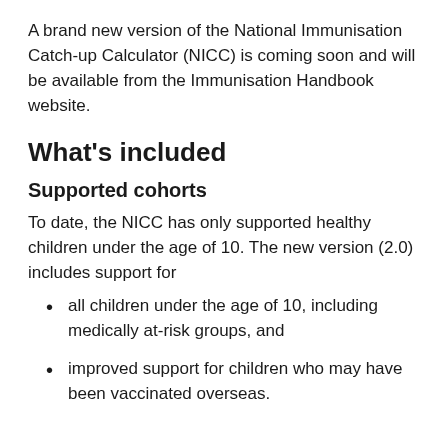A brand new version of the National Immunisation Catch-up Calculator (NICC) is coming soon and will be available from the Immunisation Handbook website.
What's included
Supported cohorts
To date, the NICC has only supported healthy children under the age of 10. The new version (2.0) includes support for
all children under the age of 10, including medically at-risk groups, and
improved support for children who may have been vaccinated overseas.